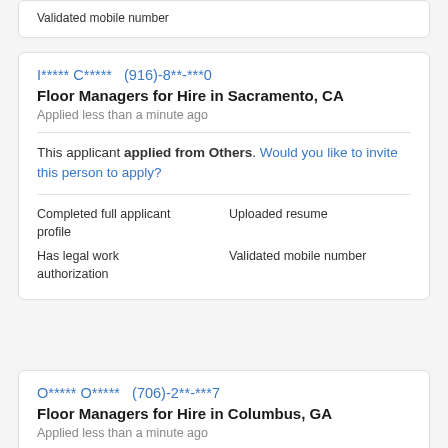Validated mobile number
I***** C*****   (916)-8**-***0
Floor Managers for Hire in Sacramento, CA
Applied less than a minute ago
This applicant applied from Others. Would you like to invite this person to apply?
Completed full applicant profile
Uploaded resume
Has legal work authorization
Validated mobile number
O***** O*****   (706)-2**-***7
Floor Managers for Hire in Columbus, GA
Applied less than a minute ago